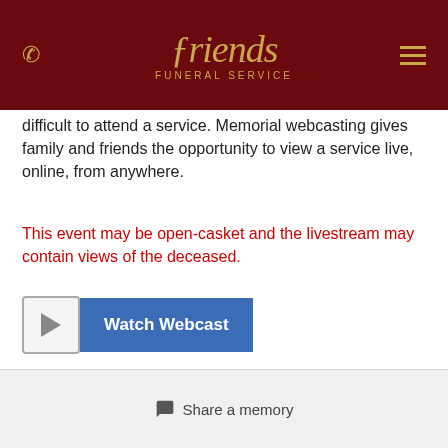[Figure (logo): Friends Funeral Service logo in gold on dark red background, with phone icon on left and hamburger menu on right]
difficult to attend a service. Memorial webcasting gives family and friends the opportunity to view a service live, online, from anywhere.
This event may be open-casket and the livestream may contain views of the deceased.
[Figure (other): Watch Webcast button with play icon circle on the left and a blue button labeled Watch Webcast]
Note: Only supported in up-to-date browser versions of Microsoft Edge, Google Chrome or Mozilla Firefox.
Share a memory